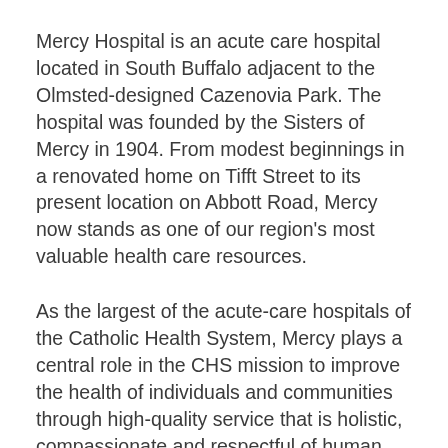Mercy Hospital is an acute care hospital located in South Buffalo adjacent to the Olmsted-designed Cazenovia Park. The hospital was founded by the Sisters of Mercy in 1904. From modest beginnings in a renovated home on Tifft Street to its present location on Abbott Road, Mercy now stands as one of our region's most valuable health care resources.
As the largest of the acute-care hospitals of the Catholic Health System, Mercy plays a central role in the CHS mission to improve the health of individuals and communities through high-quality service that is holistic, compassionate and respectful of human dignity. The Mercy Hospital Foundation was formed in 1978 to solicit, receive and administer philanthropic support for the